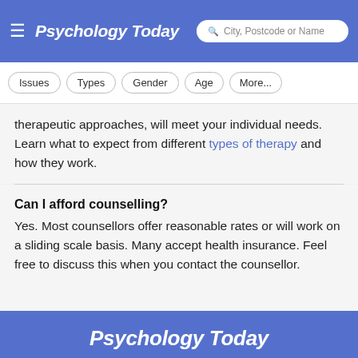Psychology Today — City, Postcode or Name search
Issues  Types  Gender  Age  More...
therapeutic approaches, will meet your individual needs. Learn what to expect from different types of therapy and how they work.
Can I afford counselling?
Yes. Most counsellors offer reasonable rates or will work on a sliding scale basis. Many accept health insurance. Feel free to discuss this when you contact the counsellor.
Psychology Today